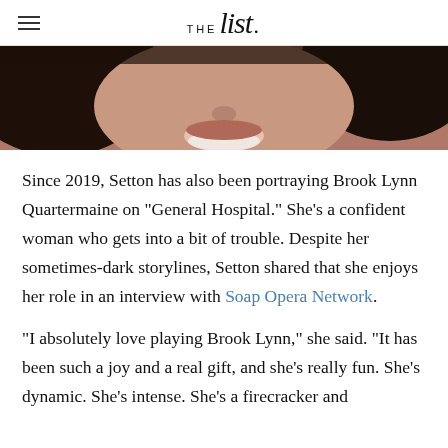THE list
[Figure (photo): Cropped close-up photo of a woman's face (lower portion, showing smile and dark hair)]
Since 2019, Setton has also been portraying Brook Lynn Quartermaine on "General Hospital." She's a confident woman who gets into a bit of trouble. Despite her sometimes-dark storylines, Setton shared that she enjoys her role in an interview with Soap Opera Network.
"I absolutely love playing Brook Lynn," she said. "It has been such a joy and a real gift, and she's really fun. She's dynamic. She's intense. She's a firecracker and she's really fun to play."